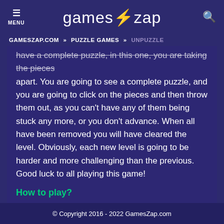MENU | gameszap | [search icon]
GAMESZAP.COM » PUZZLE GAMES » UNPUZZLE
have a complete puzzle, in this one, you are taking the pieces apart. You are going to see a complete puzzle, and you are going to click on the pieces and then throw them out, as you can't have any of them being stuck any more, or you don't advance. When all have been removed you will have cleared the level. Obviously, each new level is going to be harder and more challenging than the previous. Good luck to all playing this game!
How to play?
Use the mouse.
© Copyright 2016 - 2022 GamesZap.com